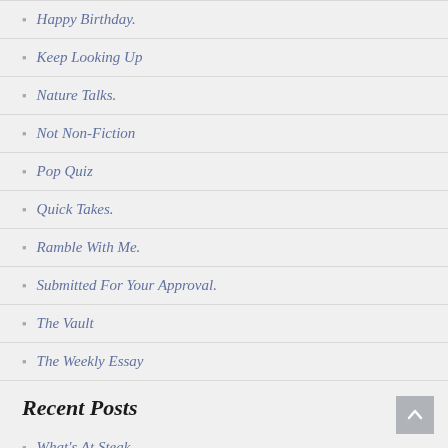Happy Birthday.
Keep Looking Up
Nature Talks.
Not Non-Fiction
Pop Quiz
Quick Takes.
Ramble With Me.
Submitted For Your Approval.
The Vault
The Weekly Essay
Recent Posts
What's At Steak.
Looking In.